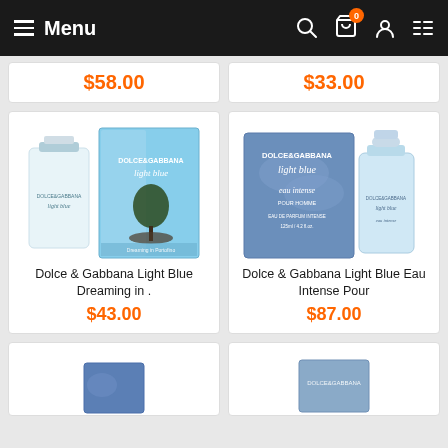Menu | Search | Cart (0) | Account | List
$58.00
$33.00
[Figure (photo): Dolce & Gabbana Light Blue Dreaming in Portofino perfume bottle and box]
Dolce & Gabbana Light Blue Dreaming in .
$43.00
[Figure (photo): Dolce & Gabbana Light Blue Eau Intense Pour Homme perfume bottle and box]
Dolce & Gabbana Light Blue Eau Intense Pour
$87.00
[Figure (photo): Partial bottom product card - blue perfume box]
[Figure (photo): Partial bottom product card - blue perfume box]